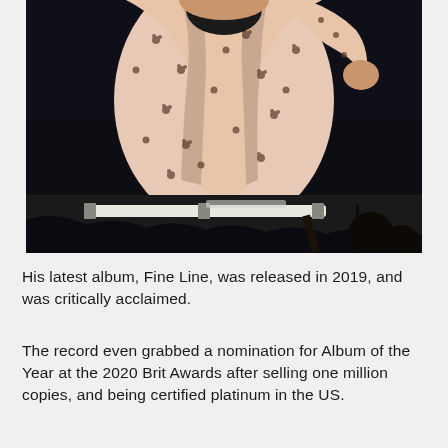[Figure (photo): A performer on stage wearing a light pink floral patterned jacket over a dark turtleneck, with musical equipment visible in the foreground at the bottom of the image. The background is very dark.]
His latest album, Fine Line, was released in 2019, and was critically acclaimed.
The record even grabbed a nomination for Album of the Year at the 2020 Brit Awards after selling one million copies, and being certified platinum in the US.